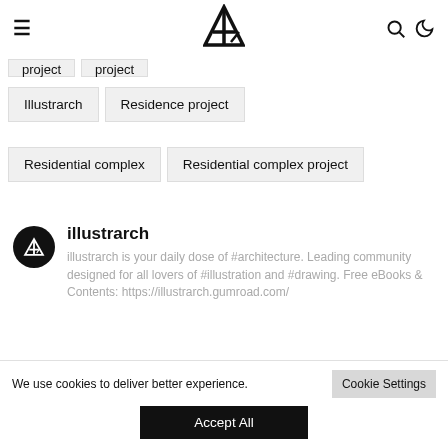≡  [Illustrarch Logo]  🔍 🌙
[partially visible tags row]
Illustrarch | Residence project
Residential complex | Residential complex project
illustrarch
illlustrarch is your daily dose of #architecture. Leading community designed for all lovers of #illustration and #drawing. Free eBooks & Contents: https://illustrarch.gumroad.com/
[Figure (other): Social media icons: globe, facebook, twitter, instagram, pinterest, youtube, telegram]
We use cookies to deliver better experience.   Cookie Settings
Accept All